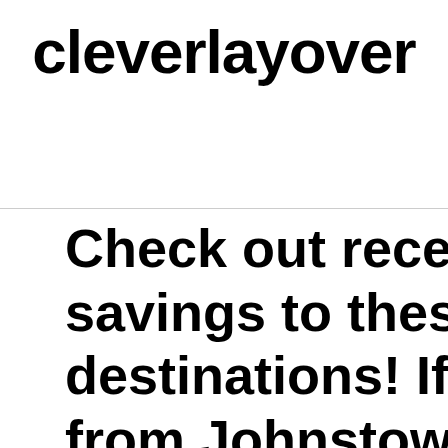cleverlayover
Check out recently savings to these gr destinations! If you from Johnstown, P Johnstown-Cambri be able to take adv a cleverlayover if